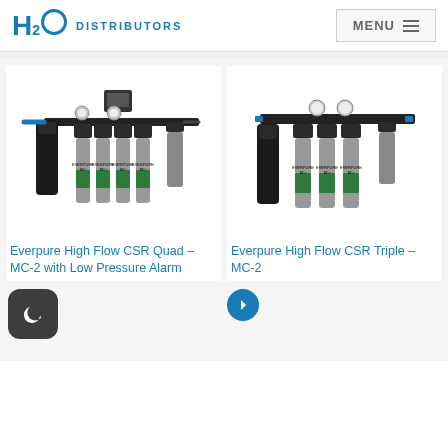H2O DISTRIBUTORS | MENU
[Figure (photo): Everpure High Flow CSR Quad MC-2 with Low Pressure Alarm water filtration system with four filter cartridges, pressure gauges, electronic monitor, and pre-filter]
[Figure (photo): Everpure High Flow CSR Triple MC-2 water filtration system with three filter cartridges, two pressure gauges, and pre-filter]
Everpure High Flow CSR Quad – MC-2 with Low Pressure Alarm
Everpure High Flow CSR Triple – MC-2